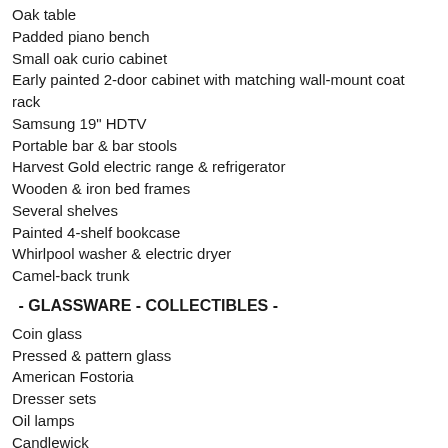Oak table
Padded piano bench
Small oak curio cabinet
Early painted 2-door cabinet with matching wall-mount coat rack
Samsung 19" HDTV
Portable bar & bar stools
Harvest Gold electric range & refrigerator
Wooden & iron bed frames
Several shelves
Painted 4-shelf bookcase
Whirlpool washer & electric dryer
Camel-back trunk
- GLASSWARE - COLLECTIBLES -
Coin glass
Pressed & pattern glass
American Fostoria
Dresser sets
Oil lamps
Candlewick
Green Depression
Granite ware
Coffee tins
Coffee grinder